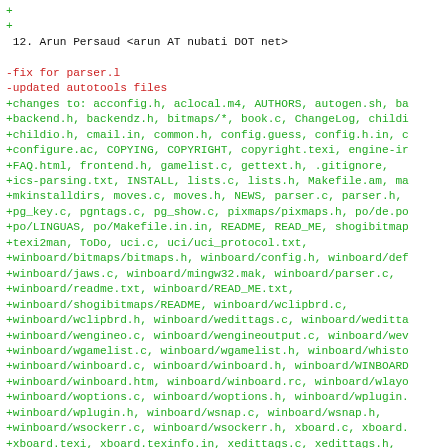+ 
+ 
 12. Arun Persaud <arun AT nubati DOT net>

-fix for parser.l
-updated autotools files
+changes to: acconfig.h, aclocal.m4, AUTHORS, autogen.sh, ba
+backend.h, backendz.h, bitmaps/*, book.c, ChangeLog, childi
+childio.h, cmail.in, common.h, config.guess, config.h.in, c
+configure.ac, COPYING, COPYRIGHT, copyright.texi, engine-ir
+FAQ.html, frontend.h, gamelist.c, gettext.h, .gitignore,
+ics-parsing.txt, INSTALL, lists.c, lists.h, Makefile.am, ma
+mkinstalldirs, moves.c, moves.h, NEWS, parser.c, parser.h,
+pg_key.c, pgntags.c, pg_show.c, pixmaps/pixmaps.h, po/de.po
+po/LINGUAS, po/Makefile.in.in, README, READ_ME, shogibitmap
+texi2man, ToDo, uci.c, uci/uci_protocol.txt,
+winboard/bitmaps/bitmaps.h, winboard/config.h, winboard/def
+winboard/jaws.c, winboard/mingw32.mak, winboard/parser.c,
+winboard/readme.txt, winboard/READ_ME.txt,
+winboard/shogibitmaps/README, winboard/wclipbrd.c,
+winboard/wclipbrd.h, winboard/wedittags.c, winboard/weditta
+winboard/wengineo.c, winboard/wengineoutput.c, winboard/wev
+winboard/wgamelist.c, winboard/wgamelist.h, winboard/whisto
+winboard/winboard.c, winboard/winboard.h, winboard/WINBOARD
+winboard/winboard.htm, winboard/winboard.rc, winboard/wlayo
+winboard/woptions.c, winboard/woptions.h, winboard/wplugin.
+winboard/wplugin.h, winboard/wsnap.c, winboard/wsnap.h,
+winboard/wsockerr.c, winboard/wsockerr.h, xboard.c, xboard.
+xboard.texi, xboard.texinfo.in, xedittags.c, xedittags.h,
+xengineoutput.c, xgamelist.c, xgamelist.h, xhistory.c, xhis
+xoptions.c, zic2xpm.c, zic2xpm.man, zippy.c, zippy.h, zippy